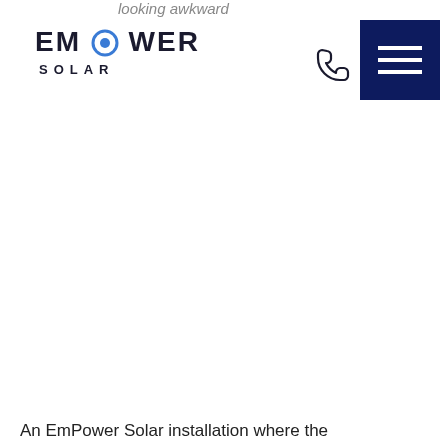looking awkward
[Figure (logo): EmPower Solar company logo with stylized lettering and solar circle element in the letter O]
[Figure (other): Phone icon (telephone handset outline)]
[Figure (other): Dark navy blue hamburger menu button with three white horizontal lines]
An EmPower Solar installation where the